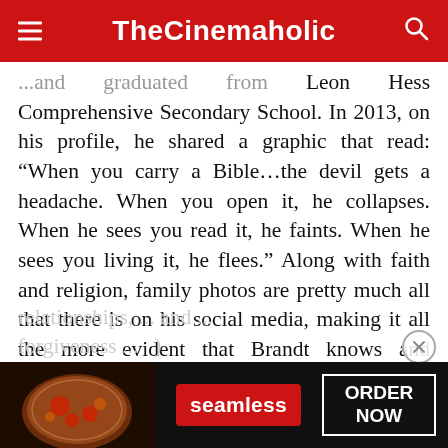TheCinemaholic
...and graduated from Leon Hess Comprehensive Secondary School. In 2013, on his profile, he shared a graphic that read: “When you carry a Bible…the devil gets a headache. When you open it, he collapses. When he sees you read it, he faints. When he sees you living it, he flees.” Along with faith and religion, family photos are pretty much all that there is on his social media, making it all the more evident that Brandt knows and understands the value of relationships, ... and ... forgiveness ...)
[Figure (advertisement): Seamless food delivery advertisement banner with pizza image, red Seamless logo button, and ORDER NOW text in white box on dark background]